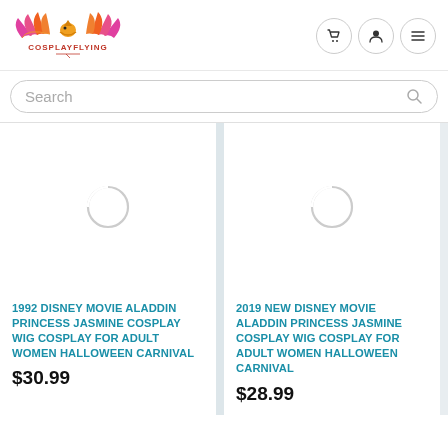[Figure (logo): CosplayFlying logo with colorful wings and bird emblem, text COSPLAYFLYING below]
Search
[Figure (photo): Product image loading spinner for 1992 Disney Movie Aladdin Princess Jasmine Cosplay Wig]
1992 DISNEY MOVIE ALADDIN PRINCESS JASMINE COSPLAY WIG COSPLAY FOR ADULT WOMEN HALLOWEEN CARNIVAL
$30.99
[Figure (photo): Product image loading spinner for 2019 New Disney Movie Aladdin Princess Jasmine Cosplay Wig]
2019 NEW DISNEY MOVIE ALADDIN PRINCESS JASMINE COSPLAY WIG COSPLAY FOR ADULT WOMEN HALLOWEEN CARNIVAL
$28.99